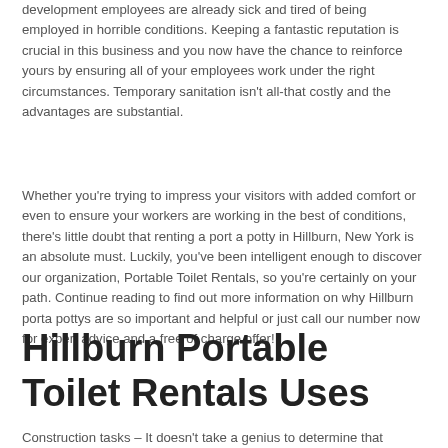development employees are already sick and tired of being employed in horrible conditions. Keeping a fantastic reputation is crucial in this business and you now have the chance to reinforce yours by ensuring all of your employees work under the right circumstances. Temporary sanitation isn't all-that costly and the advantages are substantial.
Whether you're trying to impress your visitors with added comfort or even to ensure your workers are working in the best of conditions, there's little doubt that renting a port a potty in Hillburn, New York is an absolute must. Luckily, you've been intelligent enough to discover our organization, Portable Toilet Rentals, so you're certainly on your path. Continue reading to find out more information on why Hillburn porta pottys are so important and helpful or just call our number now for expert advice and a free of charge offer!
Hillburn Portable Toilet Rentals Uses
Construction tasks – It doesn't take a genius to determine that